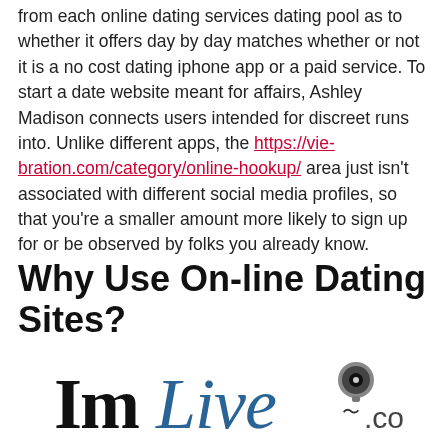from each online dating services dating pool as to whether it offers day by day matches whether or not it is a no cost dating iphone app or a paid service. To start a date website meant for affairs, Ashley Madison connects users intended for discreet runs into. Unlike different apps, the https://vie-bration.com/category/online-hookup/ area just isn't associated with different social media profiles, so that you're a smaller amount more likely to sign up for or be observed by folks you already know.
Why Use On-line Dating Sites?
[Figure (logo): ImLive.com logo with webcam icon and stylized text]